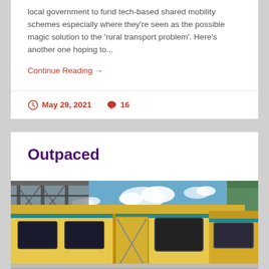local government to fund tech-based shared mobility schemes especially where they're seen as the possible magic solution to the 'rural transport problem'. Here's another one hoping to...
Continue Reading →
May 29, 2021  16
Outpaced
[Figure (photo): A yellow and white train/rail car at a station platform with a blue sky and clouds in the background, and a green building on the right side partially showing 'ARDI' text.]